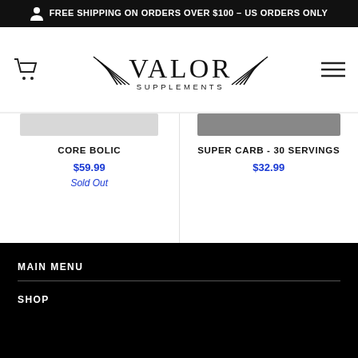FREE SHIPPING ON ORDERS OVER $100 - US ORDERS ONLY
[Figure (logo): Valor Supplements logo with decorative wing motifs flanking the text VALOR SUPPLEMENTS]
CORE BOLIC
$59.99
Sold Out
SUPER CARB - 30 SERVINGS
$32.99
MAIN MENU
SHOP